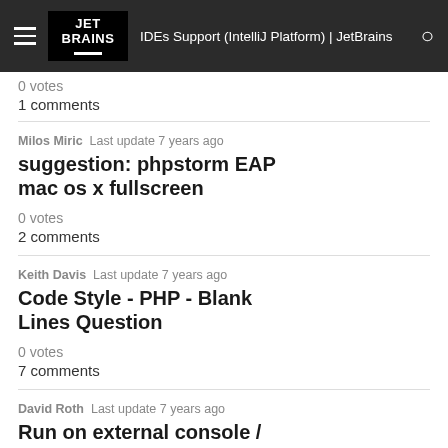IDEs Support (IntelliJ Platform) | JetBrains
0 votes
1 comments
Milos Miric  Last update 7 years ago
suggestion: phpstorm EAP mac os x fullscreen
0 votes
2 comments
Keith Davis  Last update 7 years ago
Code Style - PHP - Blank Lines Question
0 votes
7 comments
David Roth  Last update 7 years ago
Run on external console /